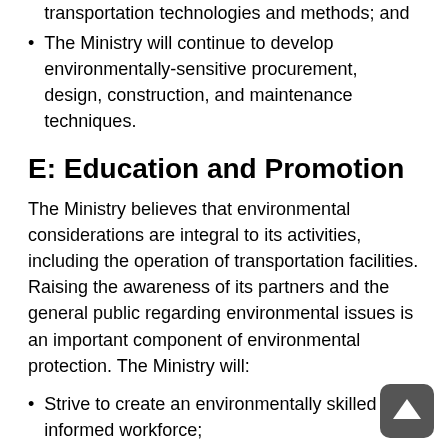develop environmentally-compatible transportation technologies and methods; and
The Ministry will continue to develop environmentally-sensitive procurement, design, construction, and maintenance techniques.
E: Education and Promotion
The Ministry believes that environmental considerations are integral to its activities, including the operation of transportation facilities. Raising the awareness of its partners and the general public regarding environmental issues is an important component of environmental protection. The Ministry will:
Strive to create an environmentally skilled and informed workforce;
Seek to influence its partners (federal, provincial, municipal, business, etc. (et cetera) ) to be aware of the environment in their respective decision